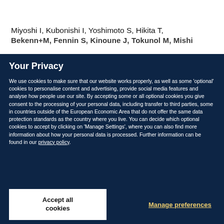Miyoshi I, Kubonishi I, Yoshimoto S, Hikita T,
[partially visible second line of citation]
Your Privacy
We use cookies to make sure that our website works properly, as well as some ‘optional’ cookies to personalise content and advertising, provide social media features and analyse how people use our site. By accepting some or all optional cookies you give consent to the processing of your personal data, including transfer to third parties, some in countries outside of the European Economic Area that do not offer the same data protection standards as the country where you live. You can decide which optional cookies to accept by clicking on ‘Manage Settings’, where you can also find more information about how your personal data is processed. Further information can be found in our privacy policy.
Accept all cookies
Manage preferences